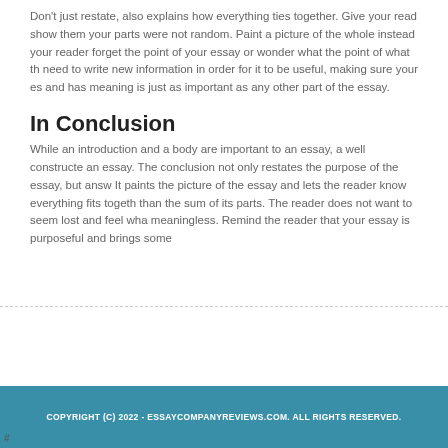Don't just restate, also explains how everything ties together. Give your reader show them your parts were not random. Paint a picture of the whole instead your reader forget the point of your essay or wonder what the point of what th need to write new information in order for it to be useful, making sure your es and has meaning is just as important as any other part of the essay.
In Conclusion
While an introduction and a body are important to an essay, a well constructed an essay. The conclusion not only restates the purpose of the essay, but answ It paints the picture of the essay and lets the reader know everything fits togeth than the sum of its parts. The reader does not want to seem lost and feel wha meaningless. Remind the reader that your essay is purposeful and brings some
COPYRIGHT (C) 2022 - ESSAYCOMPANYREVIEWS.COM. ALL RIGHTS RESERVED.